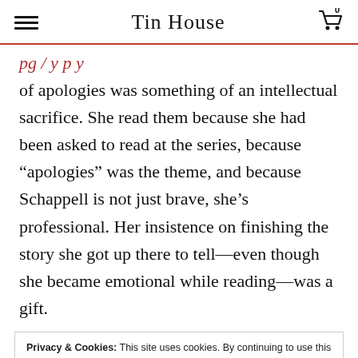Tin House
of apologies was something of an intellectual sacrifice. She read them because she had been asked to read at the series, because “apologies” was the theme, and because Schappell is not just brave, she’s professional. Her insistence on finishing the story she got up there to tell—even though she became emotional while reading—was a gift.
Privacy & Cookies: This site uses cookies. By continuing to use this website, you agree to their use.
To find out more, including how to control cookies, see here: Cookie Policy
my desire to show off, to impress by taking risks. If I